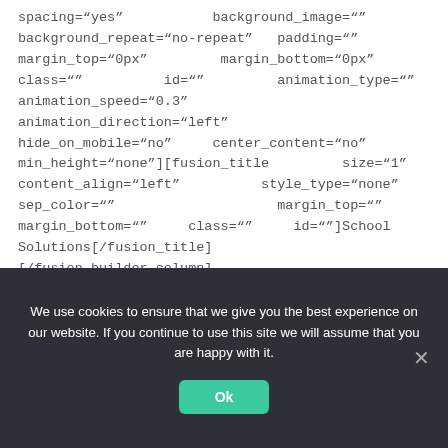spacing="yes" background_image="" background_repeat="no-repeat" padding="" margin_top="0px" margin_bottom="0px" class="" id="" animation_type="" animation_speed="0.3" animation_direction="left" hide_on_mobile="no" center_content="no" min_height="none"][fusion_title size="1" content_align="left" style_type="none" sep_color="" margin_top="" margin_bottom="" class="" id=""]School Solutions[/fusion_title] [/fusion_builder_column]
We use cookies to ensure that we give you the best experience on our website. If you continue to use this site we will assume that you are happy with it.